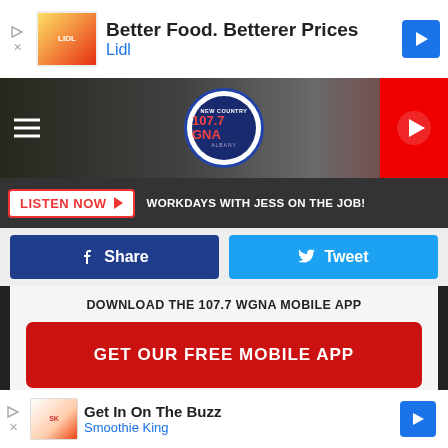[Figure (screenshot): Lidl ad banner: Better Food. Betterer Prices / Lidl with Lidl logo and navigation arrow]
[Figure (screenshot): 107.7 GNA New Country Albany radio station header with hamburger menu, logo, and play button]
LISTEN NOW ▶   WORKDAYS WITH JESS ON THE JOB!
[Figure (screenshot): Facebook Share button and Twitter Tweet button]
DOWNLOAD THE 107.7 WGNA MOBILE APP
GET OUR FREE MOBILE APP
Also listen on:  amazon alexa
[Figure (screenshot): Smoothie King ad banner: Get In On The Buzz / Smoothie King with logo and navigation arrow]